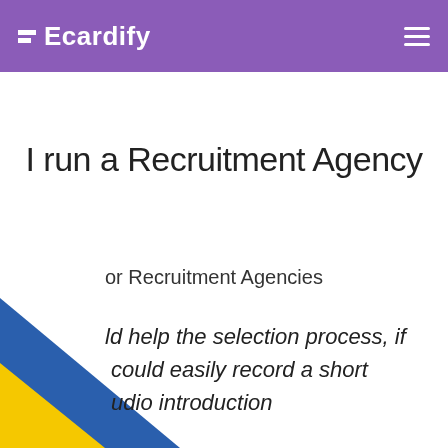Ecardify
I run a Recruitment Agency
or Recruitment Agencies
ld help the selection process, if
 could easily record a short
udio introduction